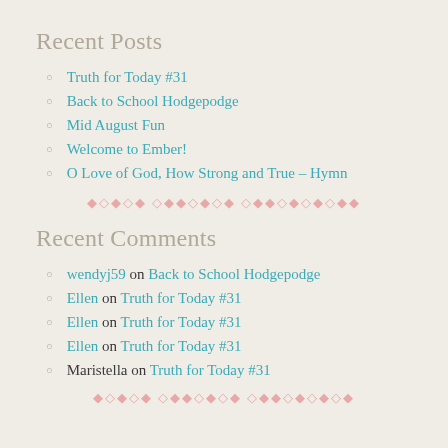Recent Posts
Truth for Today #31
Back to School Hodgepodge
Mid August Fun
Welcome to Ember!
O Love of God, How Strong and True - Hymn
◆◇◆◇◆◇◆◇◆◇◆◇◆◇◆◇◆◇◆
Recent Comments
wendyj59 on Back to School Hodgepodge
Ellen on Truth for Today #31
Ellen on Truth for Today #31
Ellen on Truth for Today #31
Maristella on Truth for Today #31
◆◇◆◇◆◇◆◇◆◇◆◇◆◇◆◇◆◇◆